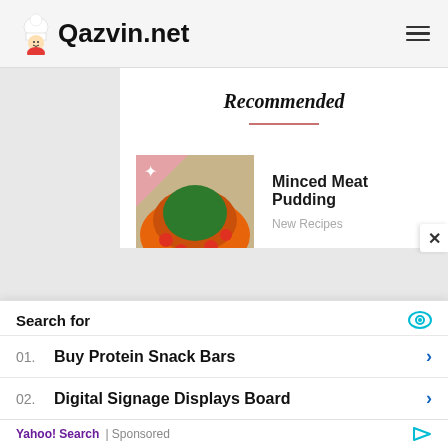Qazvin.net
Recommended
[Figure (photo): Food image thumbnail with pink corner and star icon — colorful minced meat pudding dish]
Minced Meat Pudding
New Recipes
[Figure (photo): Dark thumbnail with pink corner and star icon — aerial view of earth at night]
New Menu Deals Focus On Feasting, Value
New Recipes
Search for
01. Buy Protein Snack Bars
02. Digital Signage Displays Board
Yahoo! Search | Sponsored